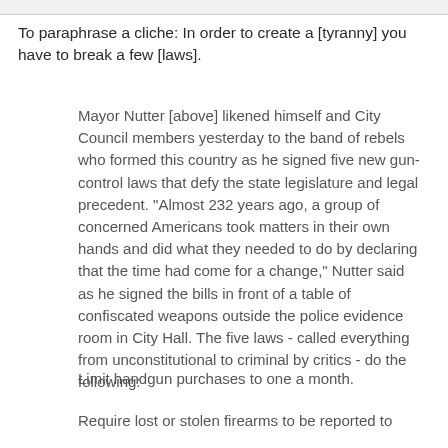To paraphrase a cliche: In order to create a [tyranny] you have to break a few [laws].
Mayor Nutter [above] likened himself and City Council members yesterday to the band of rebels who formed this country as he signed five new gun-control laws that defy the state legislature and legal precedent. "Almost 232 years ago, a group of concerned Americans took matters in their own hands and did what they needed to do by declaring that the time had come for a change," Nutter said as he signed the bills in front of a table of confiscated weapons outside the police evidence room in City Hall. The five laws - called everything from unconstitutional to criminal by critics - do the following:
Limit handgun purchases to one a month.
Require lost or stolen firearms to be reported to